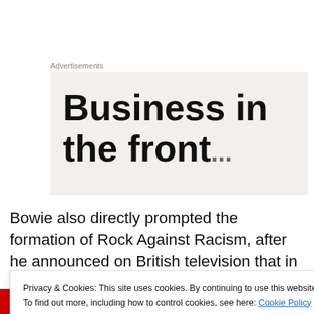Advertisements
[Figure (other): Advertisement banner with large bold text reading 'Business in the front...' on a light beige/cream background]
Bowie also directly prompted the formation of Rock Against Racism, after he announced on British television that in the elections that year there was only ‘one choice’ to run the country, and so was offering himself as the
Privacy & Cookies: This site uses cookies. By continuing to use this website, you agree to their use.
To find out more, including how to control cookies, see here: Cookie Policy
Close and accept